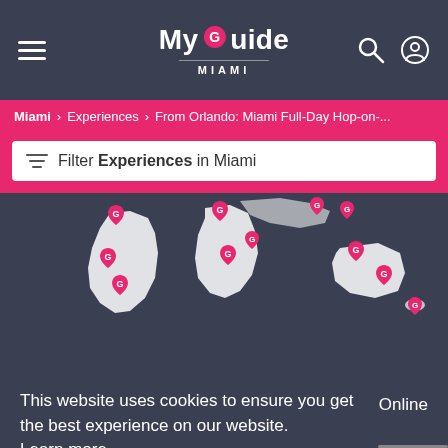My Guide MIAMI
Miami > Experiences > From Orlando: Miami Full-Day Hop-on-...
Filter Experiences in Miami
[Figure (map): World map on dark background with pink location pins marked with G logo across South America, Africa, Australia and other regions]
This website uses cookies to ensure you get the best experience on our website. Learn more
Online
Got it!